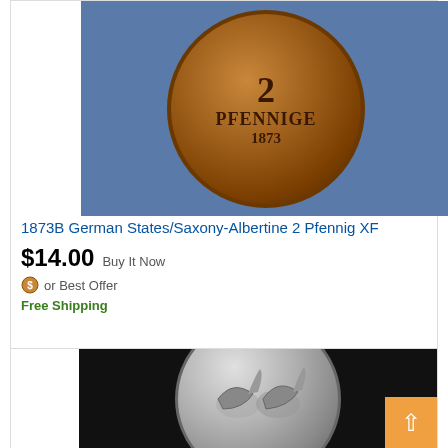[Figure (photo): Close-up photo of a bronze/copper 2 Pfennig German coin from 1873, showing the reverse face with text '2 PFENNIGE 1873' on a blue fabric background]
1873B German States/Saxony-Albertine 2 Pfennig XF
$14.00  Buy It Now
or Best Offer
Free Shipping
[Figure (photo): Close-up photo of a silver-colored coin showing horses and text 'YEAR OF THE HOR...' on a black background, partially cropped]